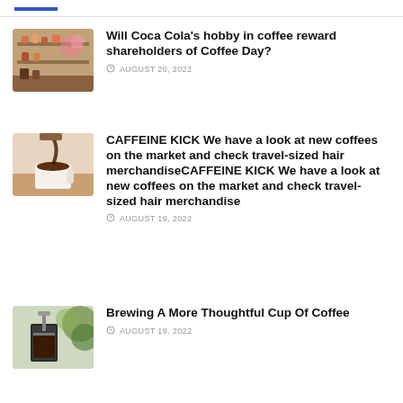[Figure (photo): Photo of a coffee shop with colorful decorations and shelves]
Will Coca Cola's hobby in coffee reward shareholders of Coffee Day?
AUGUST 20, 2022
[Figure (photo): Photo of coffee being poured into a white mug]
CAFFEINE KICK We have a look at new coffees on the market and check travel-sized hair merchandiseCAFFEINE KICK We have a look at new coffees on the market and check travel-sized hair merchandise
AUGUST 19, 2022
[Figure (photo): Photo of a French press coffee maker with green plants]
Brewing A More Thoughtful Cup Of Coffee
AUGUST 19, 2022